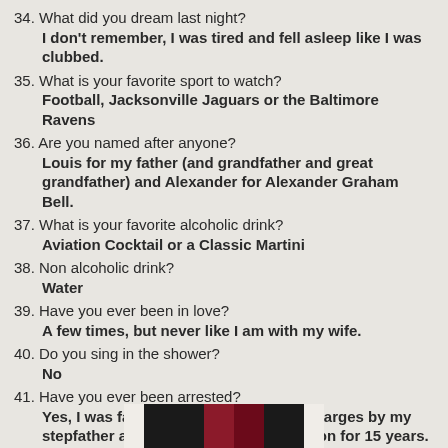34. What did you dream last night?
    I don't remember, I was tired and fell asleep like I was clubbed.
35. What is your favorite sport to watch?
    Football, Jacksonville Jaguars or the Baltimore Ravens
36. Are you named after anyone?
    Louis for my father (and grandfather and great grandfather) and Alexander for Alexander Graham Bell.
37. What is your favorite alcoholic drink?
    Aviation Cocktail or a Classic Martini
38. Non alcoholic drink?
    Water
39. Have you ever been in love?
    A few times, but never like I am with my wife.
40. Do you sing in the shower?
    No
41. Have you ever been arrested?
    Yes, I was falsely accused of several charges by my stepfather and could have gone to prison for 15 years. All charges were dropped.
[Figure (photo): Partial image visible at the bottom of the page, appears to show a dark red/black image]